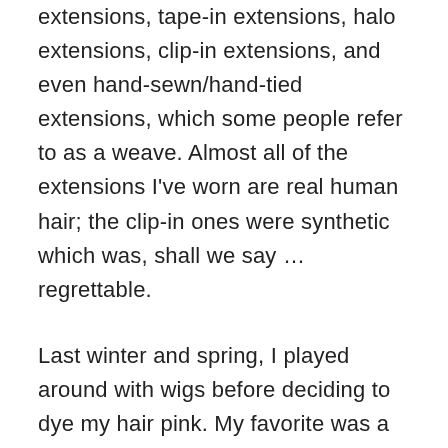extensions, tape-in extensions, halo extensions, clip-in extensions, and even hand-sewn/hand-tied extensions, which some people refer to as a weave. Almost all of the extensions I've worn are real human hair; the clip-in ones were synthetic which was, shall we say … regrettable.
Last winter and spring, I played around with wigs before deciding to dye my hair pink. My favorite was a lavender-pink lace-front with real human hair. I kind of wish it was my own hair (long and pink – YAS!) but, I digress. Currently, I'm rocking my own hair, sans extensions. I've been wearing my natural waves more frequently than not